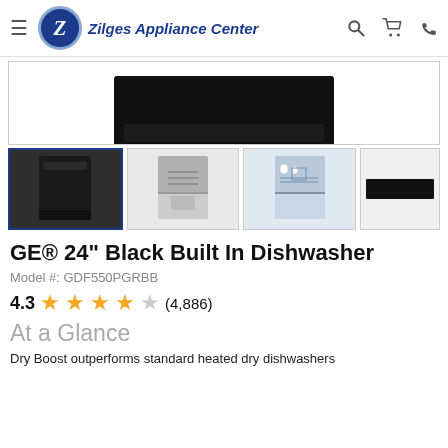Zilges Appliance Center
[Figure (photo): GE dishwasher product image - top portion of black built-in dishwasher visible]
[Figure (photo): Row of 4 product thumbnails: (1) black dishwasher front view selected, (2) open dishwasher gray, (3) open dishwasher loaded, (4) dishwasher control panel close-up]
GE® 24" Black Built In Dishwasher
Model #: GDF550PGRBB
4.3 ★★★★☆ (4,886)
At a Glance
Dry Boost outperforms standard heated dry dishwashers